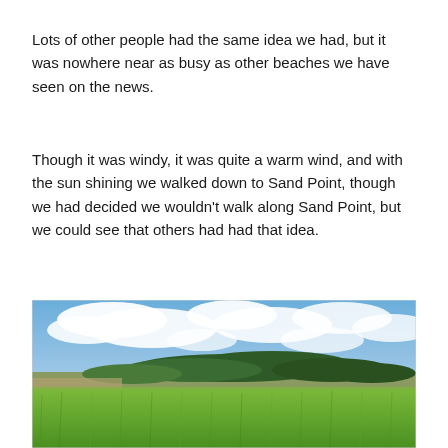Lots of other people had the same idea we had, but it was nowhere near as busy as other beaches we have seen on the news.
Though it was windy, it was quite a warm wind, and with the sun shining we walked down to Sand Point, though we had decided we wouldn't walk along Sand Point, but we could see that others had had that idea.
[Figure (photo): A landscape photo showing a wide green grassy field in the foreground, a line of dark trees and low cliffs in the middle distance, and a blue sky with scattered white clouds above.]